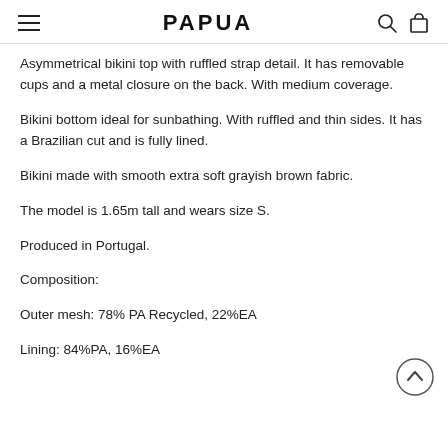PAPUA
Asymmetrical bikini top with ruffled strap detail. It has removable cups and a metal closure on the back. With medium coverage.
Bikini bottom ideal for sunbathing. With ruffled and thin sides. It has a Brazilian cut and is fully lined.
Bikini made with smooth extra soft grayish brown fabric.
The model is 1.65m tall and wears size S.
Produced in Portugal.
Composition:
Outer mesh: 78% PA Recycled, 22%EA
Lining: 84%PA, 16%EA